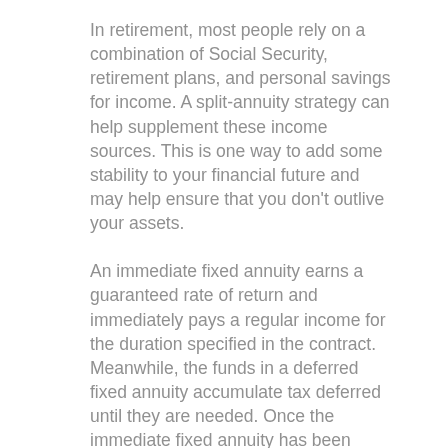In retirement, most people rely on a combination of Social Security, retirement plans, and personal savings for income. A split-annuity strategy can help supplement these income sources. This is one way to add some stability to your financial future and may help ensure that you don't outlive your assets.
An immediate fixed annuity earns a guaranteed rate of return and immediately pays a regular income for the duration specified in the contract. Meanwhile, the funds in a deferred fixed annuity accumulate tax deferred until they are needed. Once the immediate fixed annuity has been depleted, the deferred fixed annuity can be used to generate a regular income stream. Of course, any earnings withdrawn from the deferred annuity would be taxed as ordinary income.
A deferred annuity is a financial vehicle used for retirement purposes. It is a contract with an insurance company that can be funded either with a lump sum or regular payments over time. In